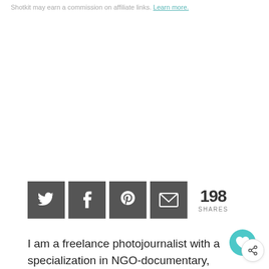Shotkit may earn a commission on affiliate links. Learn more.
[Figure (infographic): Social sharing buttons row: Twitter, Facebook, Pinterest, Email icons in dark grey squares, followed by '198 SHARES' count]
I am a freelance photojournalist with a specialization in NGO-documentary, passionate about capturing